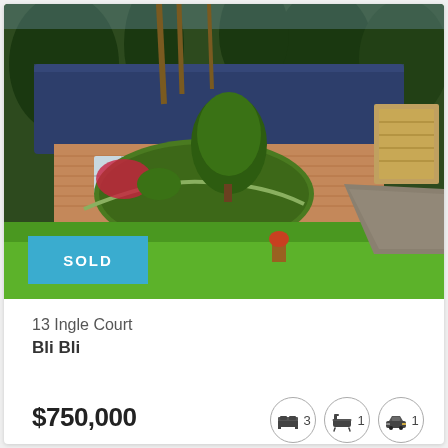[Figure (photo): Aerial/front view of a single-storey brick house with blue tiled roof, lush green lawn, circular garden bed with large topiary tree, and paved driveway. A SOLD banner overlaid in teal/cyan colour.]
13 Ingle Court
Bli Bli
$750,000
3 bedrooms, 1 bathroom, 1 garage